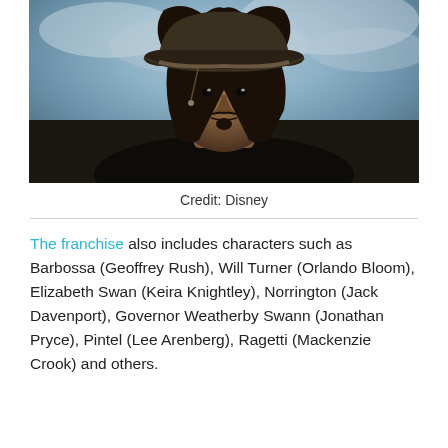[Figure (photo): Portrait of actor dressed as Captain Jack Sparrow from Pirates of the Caribbean, wearing a pirate hat with dark braided hair, with a cloudy sky background. Credit: Disney.]
Credit: Disney
The franchise also includes characters such as Barbossa (Geoffrey Rush), Will Turner (Orlando Bloom), Elizabeth Swan (Keira Knightley), Norrington (Jack Davenport), Governor Weatherby Swann (Jonathan Pryce), Pintel (Lee Arenberg), Ragetti (Mackenzie Crook) and others.